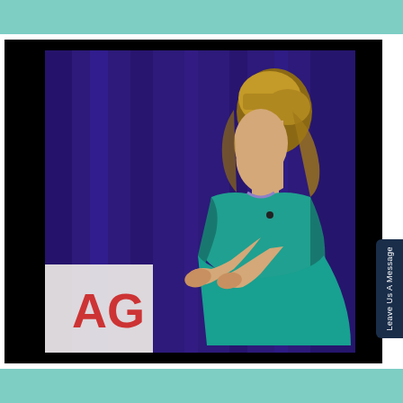[Figure (photo): A woman with shoulder-length brown/blonde hair, wearing a teal/turquoise jacket, speaking on stage from a profile view. She appears to be gesturing with her hands. Behind her is a purple/blue curtain backdrop and a partial sign showing 'AG' in red letters. The photo is framed by a wide black border.]
Leave Us A Message